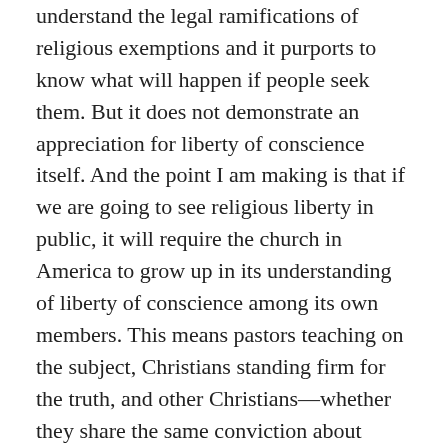understand the legal ramifications of religious exemptions and it purports to know what will happen if people seek them. But it does not demonstrate an appreciation for liberty of conscience itself. And the point I am making is that if we are going to see religious liberty in public, it will require the church in America to grow up in its understanding of liberty of conscience among its own members. This means pastors teaching on the subject, Christians standing firm for the truth, and other Christians—whether they share the same conviction about Covid vaccines or not—supporting others who are willing to suffer for their beliefs. Indeed, there have been many Christians in church history who have held different beliefs on different Christians practices. But one thing that has benefitted the Church in America has been the freedom to exercise their religion without the coercion of the state.